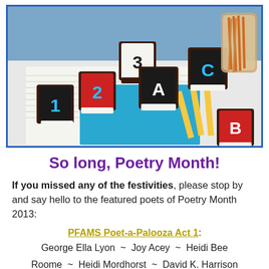[Figure (photo): Photo of chocolate cookie sandwiches decorated as alphabet/number blocks (showing 1, 2, 3, A, B, C) arranged on notebooks with a jar of pretzel sticks in the background]
So long, Poetry Month!
If you missed any of the festivities, please stop by and say hello to the featured poets of Poetry Month 2013:
PFAMS Poet-a-Palooza Act 1: George Ella Lyon ~ Joy Acey ~ Heidi Bee Roome ~ Heidi Mordhorst ~ David K. Harrison